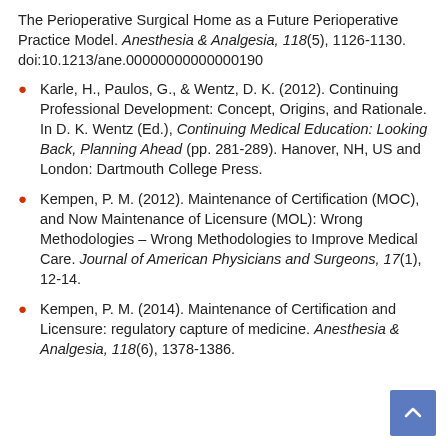The Perioperative Surgical Home as a Future Perioperative Practice Model. Anesthesia & Analgesia, 118(5), 1126-1130. doi:10.1213/ane.00000000000000190
Karle, H., Paulos, G., & Wentz, D. K. (2012). Continuing Professional Development: Concept, Origins, and Rationale. In D. K. Wentz (Ed.), Continuing Medical Education: Looking Back, Planning Ahead (pp. 281-289). Hanover, NH, US and London: Dartmouth College Press.
Kempen, P. M. (2012). Maintenance of Certification (MOC), and Now Maintenance of Licensure (MOL): Wrong Methodologies – Wrong Methodologies to Improve Medical Care. Journal of American Physicians and Surgeons, 17(1), 12-14.
Kempen, P. M. (2014). Maintenance of Certification and Licensure: regulatory capture of medicine. Anesthesia & Analgesia, 118(6), 1378-1386.